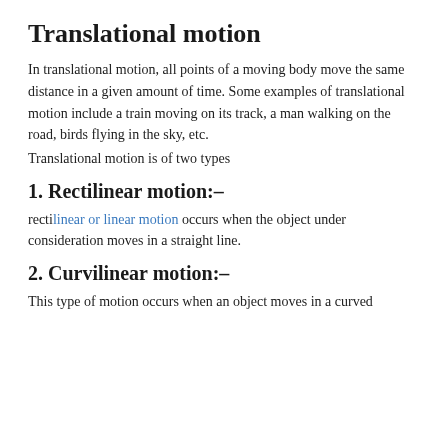Translational motion
In translational motion, all points of a moving body move the same distance in a given amount of time. Some examples of translational motion include a train moving on its track, a man walking on the road, birds flying in the sky, etc.
Translational motion is of two types
1. Rectilinear motion:–
rectilinear or linear motion occurs when the object under consideration moves in a straight line.
2. Curvilinear motion:–
This type of motion occurs when an object moves in a curved